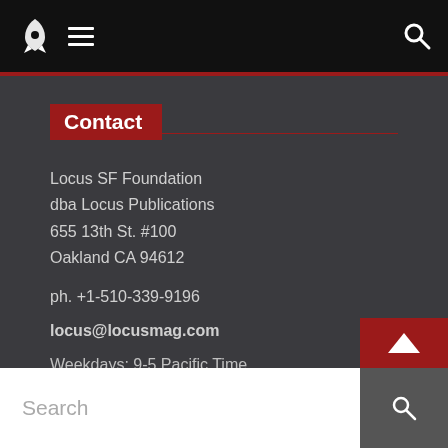Locus Magazine navigation bar with rocket logo, hamburger menu, and search icon
Contact
Locus SF Foundation
dba Locus Publications
655 13th St. #100
Oakland CA 94612
ph. +1-510-339-9196
locus@locusmag.com
Weekdays: 9-5 Pacific Time